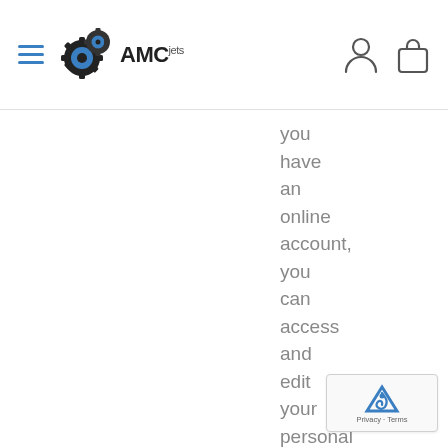AMCjets
you have an online account, you can access and edit your personal information for yourself via www.amcjets.com and